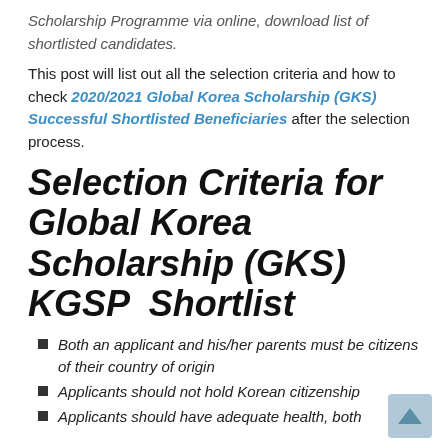Scholarship Programme via online, download list of shortlisted candidates.
This post will list out all the selection criteria and how to check 2020/2021 Global Korea Scholarship (GKS) Successful Shortlisted Beneficiaries after the selection process.
Selection Criteria for Global Korea Scholarship (GKS) KGSP  Shortlist
Both an applicant and his/her parents must be citizens of their country of origin
Applicants should not hold Korean citizenship
Applicants should have adequate health, both